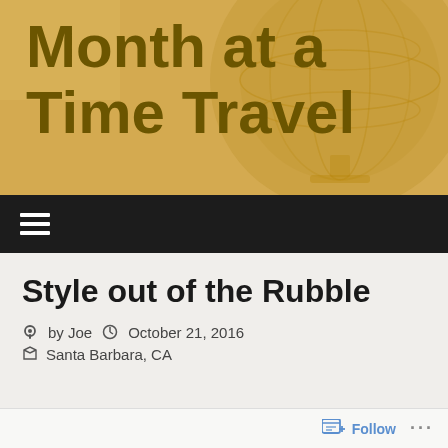Month at a Time Travel
[Figure (screenshot): Navigation bar with hamburger menu icon on dark background]
Style out of the Rubble
by Joe  October 21, 2016
Santa Barbara, CA
[Figure (screenshot): Follow button bar at bottom with follow icon and ellipsis menu]